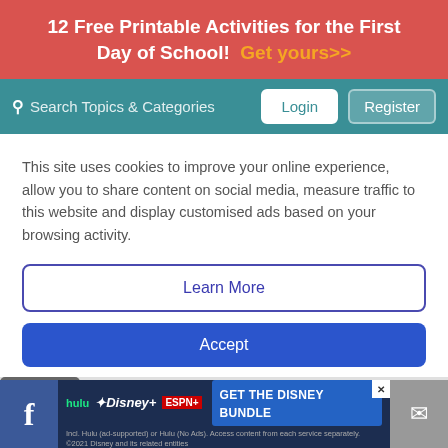12 Free Printable Activities for the First Day of School! Get yours>>
Search Topics & Categories | Login | Register
This site uses cookies to improve your online experience, allow you to share content on social media, measure traffic to this website and display customised ads based on your browsing activity.
Learn More
Accept
Help! I Tried Talked
[Figure (screenshot): Disney Bundle advertisement banner at bottom with Hulu, Disney+, ESPN+ logos and GET THE DISNEY BUNDLE CTA]